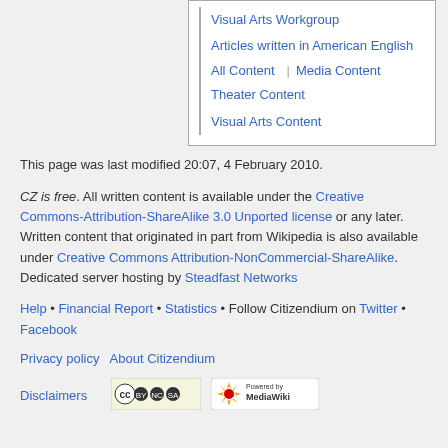Visual Arts Workgroup
Articles written in American English
All Content | Media Content
Theater Content
Visual Arts Content
This page was last modified 20:07, 4 February 2010.
CZ is free. All written content is available under the Creative Commons-Attribution-ShareAlike 3.0 Unported license or any later. Written content that originated in part from Wikipedia is also available under Creative Commons Attribution-NonCommercial-ShareAlike. Dedicated server hosting by Steadfast Networks
Help • Financial Report • Statistics • Follow Citizendium on Twitter • Facebook
Privacy policy   About Citizendium
Disclaimers
[Figure (logo): Creative Commons BY-NC-SA badge]
[Figure (logo): Powered by MediaWiki badge]